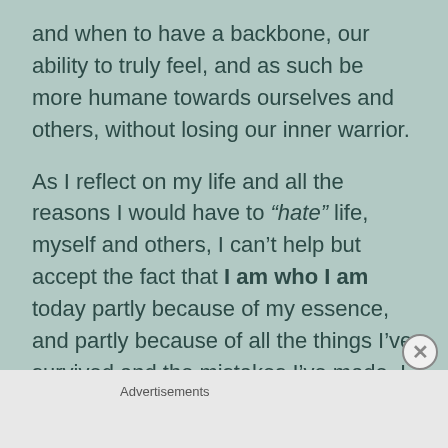and when to have a backbone, our ability to truly feel, and as such be more humane towards ourselves and others, without losing our inner warrior.
As I reflect on my life and all the reasons I would have to “hate” life, myself and others, I can’t help but accept the fact that I am who I am today partly because of my essence, and partly because of all the things I’ve survived and the mistakes I’ve made. I am far from
Advertisements